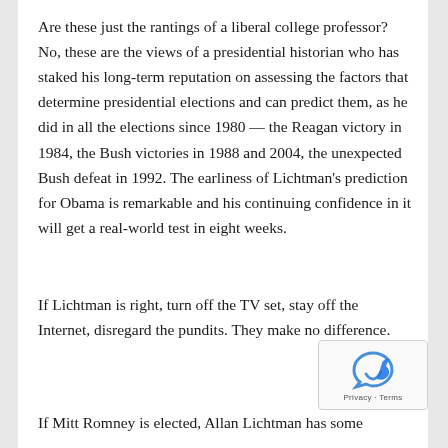Are these just the rantings of a liberal college professor? No, these are the views of a presidential historian who has staked his long-term reputation on assessing the factors that determine presidential elections and can predict them, as he did in all the elections since 1980 — the Reagan victory in 1984, the Bush victories in 1988 and 2004, the unexpected Bush defeat in 1992. The earliness of Lichtman's prediction for Obama is remarkable and his continuing confidence in it will get a real-world test in eight weeks.
If Lichtman is right, turn off the TV set, stay off the Internet, disregard the pundits. They make no difference.
If Mitt Romney is elected, Allan Lichtman has some